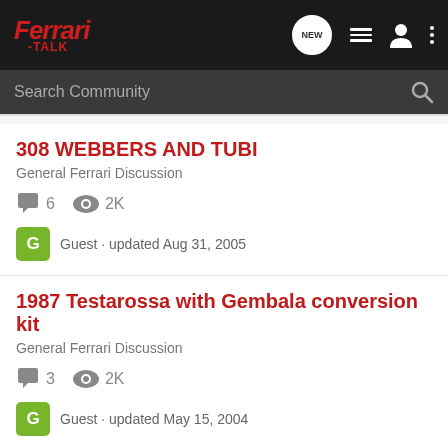Ferrari-Talk
308 WEBBERS AND TUBI
General Ferrari Discussion
6 comments · 2K views
Guest · updated Aug 31, 2005
1987 Testarossa with Gembala conversion kit
General Ferrari Discussion
3 comments · 2K views
Guest · updated May 15, 2004
Stainless steel exhausts Tubi or not Tubi